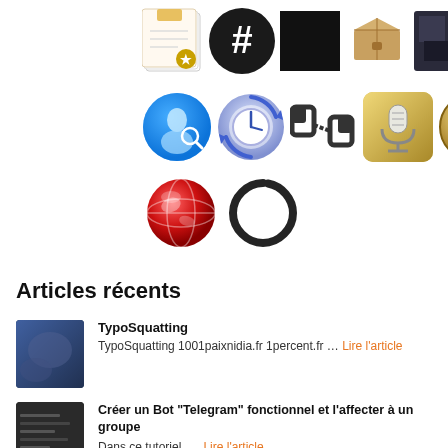[Figure (screenshot): Grid of app icons: row 1 has 5 icons (sticky note app, hashtag circle, black square, wooden box, dark scene); row 2 has 5 icons (blue detective figure, time machine backup, cable/dock app, microphone on gold background, gold compass clock); row 3 has 2 icons (red globe, zen circle brushstroke)]
Articles récents
[Figure (photo): Thumbnail image for TypoSquatting article - dark blue/grey abstract]
TypoSquatting
TypoSquatting 1001paixnidia.fr 1percent.fr … Lire l'article
[Figure (screenshot): Thumbnail image for Telegram bot article - dark terminal/code screenshot]
Créer un Bot “Telegram” fonctionnel et l’affecter à un groupe
Dans ce tutoriel, … Lire l'article